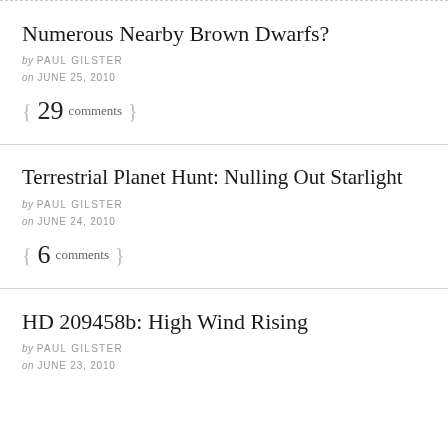Numerous Nearby Brown Dwarfs?
by PAUL GILSTER
on JUNE 25, 2010
{ 29 comments }
Terrestrial Planet Hunt: Nulling Out Starlight
by PAUL GILSTER
on JUNE 24, 2010
{ 6 comments }
HD 209458b: High Wind Rising
by PAUL GILSTER
on JUNE 23, 2010